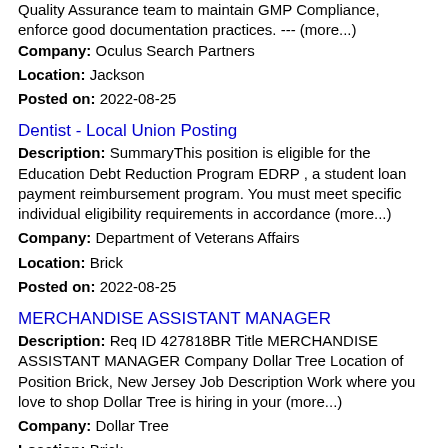Quality Assurance team to maintain GMP Compliance, enforce good documentation practices. --- (more...)
Company: Oculus Search Partners
Location: Jackson
Posted on: 2022-08-25
Dentist - Local Union Posting
Description: SummaryThis position is eligible for the Education Debt Reduction Program EDRP , a student loan payment reimbursement program. You must meet specific individual eligibility requirements in accordance (more...)
Company: Department of Veterans Affairs
Location: Brick
Posted on: 2022-08-25
MERCHANDISE ASSISTANT MANAGER
Description: Req ID 427818BR Title MERCHANDISE ASSISTANT MANAGER Company Dollar Tree Location of Position Brick, New Jersey Job Description Work where you love to shop Dollar Tree is hiring in your (more...)
Company: Dollar Tree
Location: Brick
Posted on: 2022-08-26
Certified Medical Assistant (FT) - Pediatric Neurology - Long Branch
Description: Job DetailsCertified Medical Assistant FT - Pediatric Neurology - Long Branch Req : 0000083452 Category: Medical